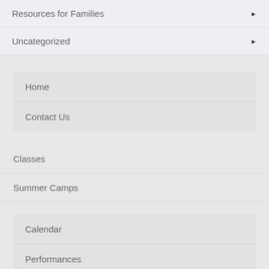Resources for Families
Uncategorized
Home
Contact Us
Classes
Summer Camps
Calendar
Performances